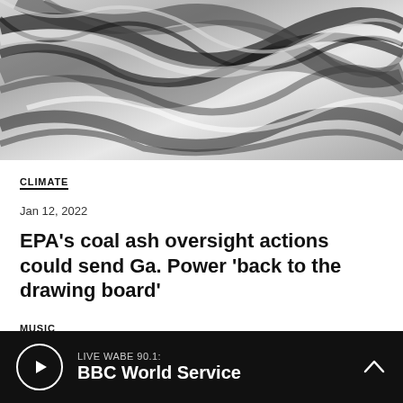[Figure (photo): Abstract swirling black and white marble-like texture, possibly an aerial view of oil or paint on water]
CLIMATE
Jan 12, 2022
EPA's coal ash oversight actions could send Ga. Power ‘back to the drawing board’
MUSIC
LIVE WABE 90.1: BBC World Service